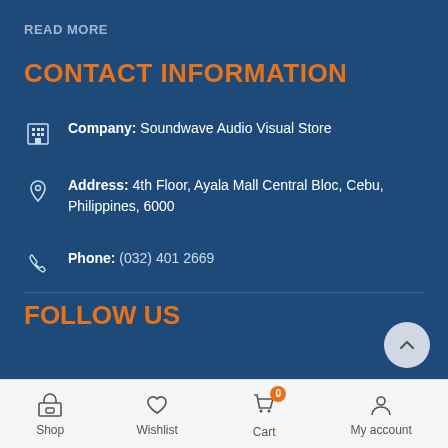READ MORE
CONTACT INFORMATION
Company: Soundwave Audio Visual Store
Address: 4th Floor, Ayala Mall Central Bloc, Cebu, Philippines, 6000
Phone: (032) 401 2669
FOLLOW US
Shop  Wishlist  Cart  My account